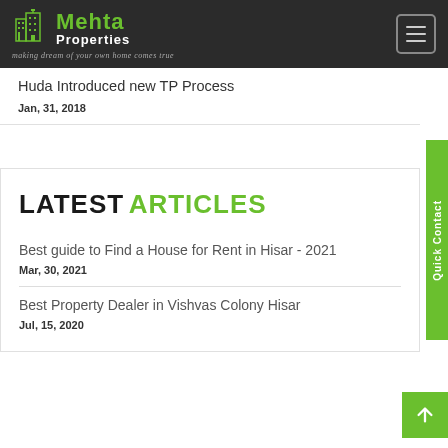Mehta Properties — making dream of your own home comes true
Huda Introduced new TP Process
Jan, 31, 2018
LATEST ARTICLES
Best guide to Find a House for Rent in Hisar - 2021
Mar, 30, 2021
Best Property Dealer in Vishvas Colony Hisar
Jul, 15, 2020